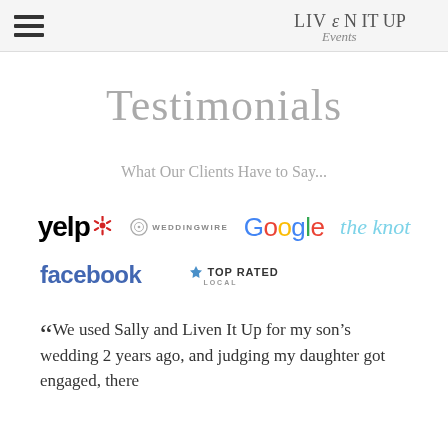Liven It Up Events (logo with hamburger menu)
Testimonials
What Our Clients Have to Say...
[Figure (logo): Row of review platform logos: Yelp, WeddingWire, Google, The Knot]
[Figure (logo): Row of review platform logos: Facebook, Top Rated Local]
“We used Sally and Liven It Up for my son’s wedding 2 years ago, and judging my daughter got engaged, there